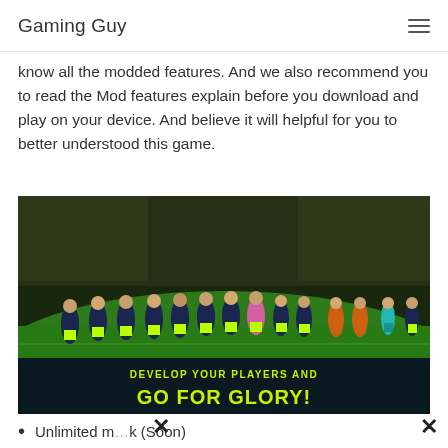Gaming Guy
know all the modded features. And we also recommend you to read the Mod features explain before you download and play on your device. And believe it will helpful for you to better understood this game.
[Figure (screenshot): Screenshot from a football/soccer video game showing players lined up on a green pitch inside a stadium at night, with an overlay banner reading 'DEVELOP YOUR PLAYERS AND GO FOR GLORY!']
Unlimited m...k (Soon)